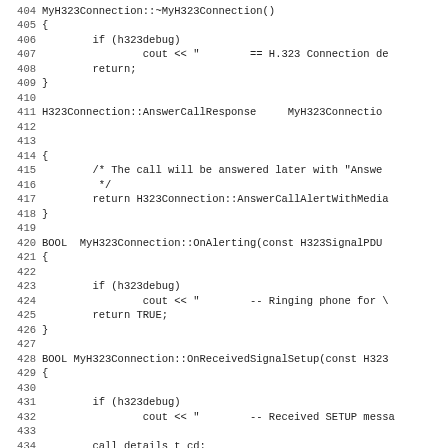[Figure (screenshot): Source code listing in C++ showing MyH323Connection class methods including destructor, AnswerCallResponse, OnAlerting, and OnReceivedSignalSetup functions, with line numbers 404-435.]